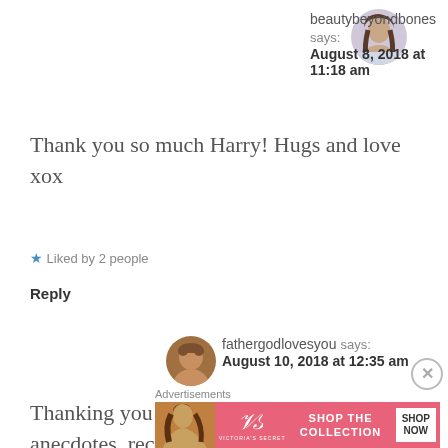[Figure (photo): Round avatar photo of beautybeyondbones, a woman with long brown hair]
beautybeyondbones says:
August 8, 2018 at 11:18 am
Thank you so much Harry! Hugs and love xox
★ Liked by 2 people
Reply
[Figure (photo): Round avatar photo of fathergodlovesyou, earthy brown tones]
fathergodlovesyou says:
August 10, 2018 at 12:35 am
Thanking you for sharing all your anecdotes, recounts and wonderful
Advertisements
[Figure (photo): Victoria's Secret advertisement banner: model with curly hair on left, VS logo, SHOP THE COLLECTION text, SHOP NOW button on right]